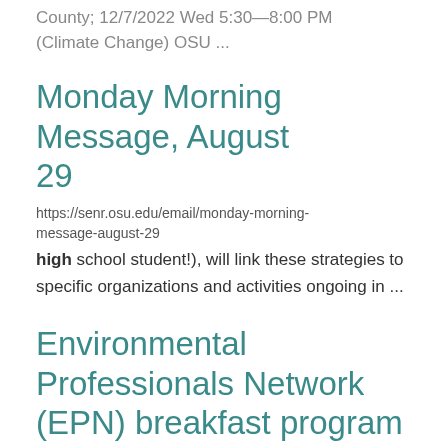County; 12/7/2022 Wed 5:30—8:00 PM (Climate Change) OSU ...
Monday Morning Message, August 29
https://senr.osu.edu/email/monday-morning-message-august-29
high school student!), will link these strategies to specific organizations and activities ongoing in ...
Environmental Professionals Network (EPN) breakfast program returns on September 13
https://senr.osu.edu/news/environmental